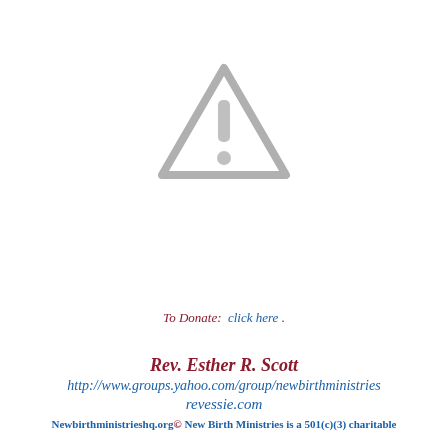[Figure (illustration): Gray warning triangle icon with exclamation mark]
To Donate:  click here .
Rev. Esther R. Scott
http://www.groups.yahoo.com/group/newbirthministries
revessie.com
Newbirthministrieshq.org© New Birth Ministries is a 501(c)(3) charitable organization